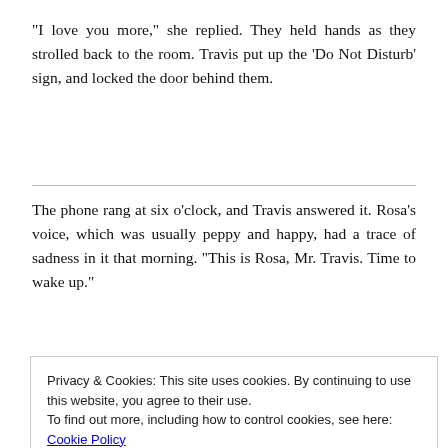“I love you more,” she replied. They held hands as they strolled back to the room. Travis put up the ‘Do Not Disturb’ sign, and locked the door behind them.
The phone rang at six o’clock, and Travis answered it. Rosa’s voice, which was usually peppy and happy, had a trace of sadness in it that morning. “This is Rosa, Mr. Travis. Time to wake up.”
Privacy & Cookies: This site uses cookies. By continuing to use this website, you agree to their use.
To find out more, including how to control cookies, see here: Cookie Policy
hair from her neck, and nuzzled his face into her neck.